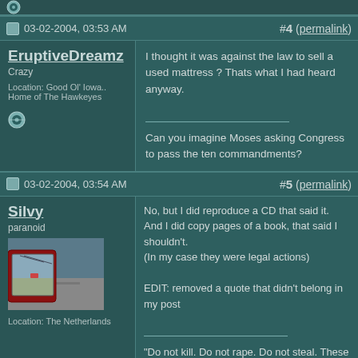Top strip
03-02-2004, 03:53 AM   #4 (permalink)
EruptiveDreamz
Crazy
Location: Good Ol' Iowa.. Home of The Hawkeyes
I thought it was against the law to sell a used mattress ? Thats what I had heard anyway.

Can you imagine Moses asking Congress to pass the ten commandments?
03-02-2004, 03:54 AM   #5 (permalink)
Silvy
paranoid
Location: The Netherlands
[Figure (photo): Car side mirror reflection photo showing a road and another vehicle]
No, but I did reproduce a CD that said it.
And I did copy pages of a book, that said I shouldn't.
(In my case they were legal actions)

EDIT: removed a quote that didn't belong in my post

"Do not kill. Do not rape. Do not steal. These are principles which every man of every faith can embrace. "
- Murphy MacManus (Boondock